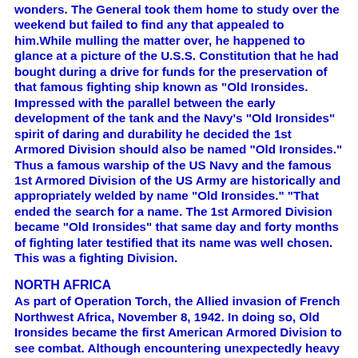wonders. The General took them home to study over the weekend but failed to find any that appealed to him.While mulling the matter over, he happened to glance at a picture of the U.S.S. Constitution that he had bought during a drive for funds for the preservation of that famous fighting ship known as "Old Ironsides. Impressed with the parallel between the early development of the tank and the Navy's "Old Ironsides" spirit of daring and durability he decided the 1st Armored Division should also be named "Old Ironsides." Thus a famous warship of the US Navy and the famous 1st Armored Division of the US Army are historically and appropriately welded by name "Old Ironsides." "That ended the search for a name. The 1st Armored Division became "Old Ironsides" that same day and forty months of fighting later testified that its name was well chosen. This was a fighting Division.
NORTH AFRICA
As part of Operation Torch, the Allied invasion of French Northwest Africa, November 8, 1942. In doing so, Old Ironsides became the first American Armored Division to see combat. Although encountering unexpectedly heavy Vichy French